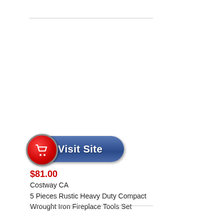[Figure (other): Visit Site button with red shopping cart circle icon on left and blue rounded rectangle with 'Visit Site' text]
$81.00
Costway CA
5 Pieces Rustic Heavy Duty Compact Wrought Iron Fireplace Tools Set